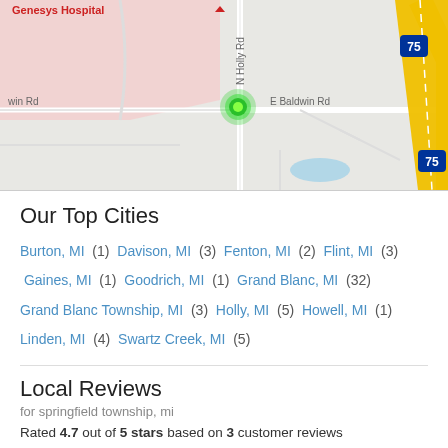[Figure (map): Google Maps view showing N Holly Rd, E Baldwin Rd, and Interstate 75. Genesys Hospital label visible top-left in red. A green location pin is shown at the intersection near E Baldwin Rd and N Holly Rd. The highway I-75 runs diagonally in yellow from upper-right to lower-right.]
Our Top Cities
Burton, MI  (1)  Davison, MI  (3)  Fenton, MI  (2)  Flint, MI  (3)  Gaines, MI  (1)  Goodrich, MI  (1)  Grand Blanc, MI  (32)  Grand Blanc Township, MI  (3)  Holly, MI  (5)  Howell, MI  (1)  Linden, MI  (4)  Swartz Creek, MI  (5)
Local Reviews
for springfield township, mi
Rated 4.7 out of 5 stars based on 3 customer reviews